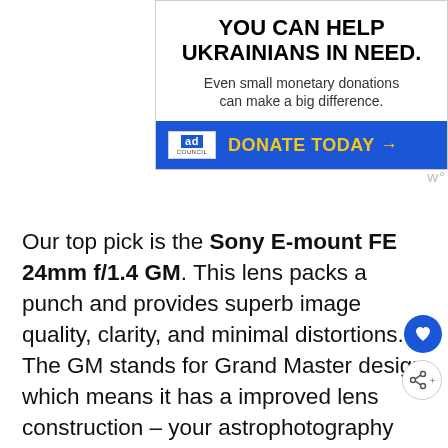[Figure (other): Advertisement banner: 'YOU CAN HELP UKRAINIANS IN NEED. Even small monetary donations can make a big difference.' with a blue DONATE TODAY → button and Ad Council logo]
Our top pick is the Sony E-mount FE 24mm f/1.4 GM. This lens packs a punch and provides superb image quality, clarity, and minimal distortions. The GM stands for Grand Master design which means it has improved lens construction – your astrophotography shots will look amazing